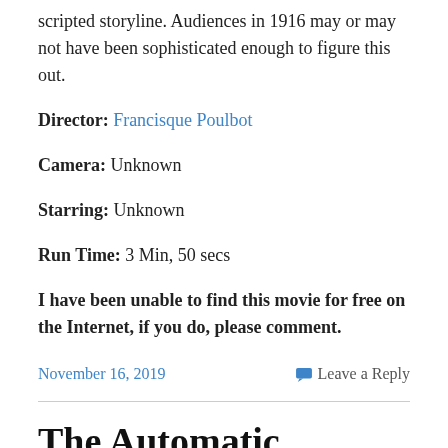scripted storyline. Audiences in 1916 may or may not have been sophisticated enough to figure this out.
Director: Francisque Poulbot
Camera: Unknown
Starring: Unknown
Run Time: 3 Min, 50 secs
I have been unable to find this movie for free on the Internet, if you do, please comment.
November 16, 2019
Leave a Reply
The Automatic Moving Company (1911)